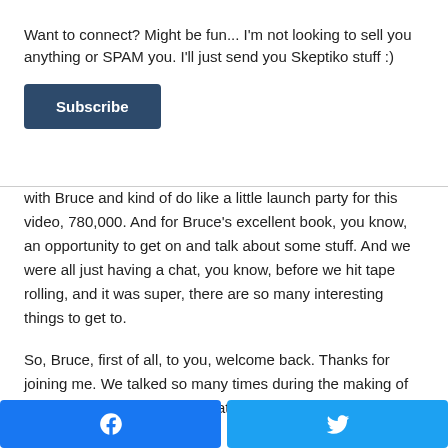Want to connect? Might be fun... I'm not looking to sell you anything or SPAM you. I'll just send you Skeptiko stuff :)
Subscribe
with Bruce and kind of do like a little launch party for this video, 780,000. And for Bruce's excellent book, you know, an opportunity to get on and talk about some stuff. And we were all just having a chat, you know, before we hit tape rolling, and it was super, there are so many interesting things to get to.
So, Bruce, first of all, to you, welcome back. Thanks for joining me. We talked so many times during the making of this film and it's been just great working with you. So thanks for coming on.